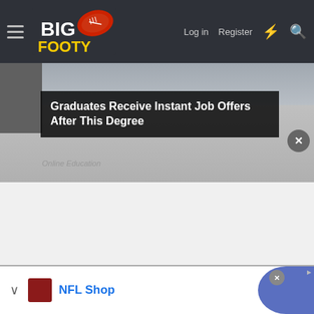BigFooty — Log in | Register
[Figure (screenshot): BigFooty website advertisement screenshot showing a partially visible car image in the background with an overlay ad reading 'Graduates Receive Instant Job Offers After This Degree' from Online Education, a close button, and a bottom NFL Shop banner ad.]
Graduates Receive Instant Job Offers After This Degree
Online Education
NFL Shop